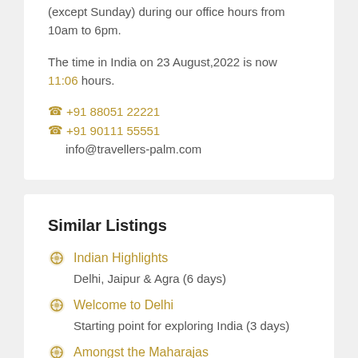(except Sunday) during our office hours from 10am to 6pm.
The time in India on 23 August,2022 is now 11:06 hours.
☎ +91 88051 22221
☎ +91 90111 55551
info@travellers-palm.com
Similar Listings
Indian Highlights
Delhi, Jaipur & Agra (6 days)
Welcome to Delhi
Starting point for exploring India (3 days)
Amongst the Maharajas